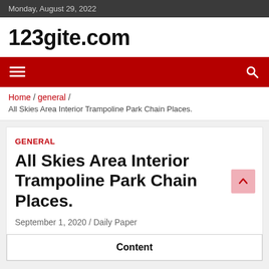Monday, August 29, 2022
123gite.com
Navigation menu with search
Home / general / All Skies Area Interior Trampoline Park Chain Places.
GENERAL
All Skies Area Interior Trampoline Park Chain Places.
September 1, 2020 / Daily Paper
Content